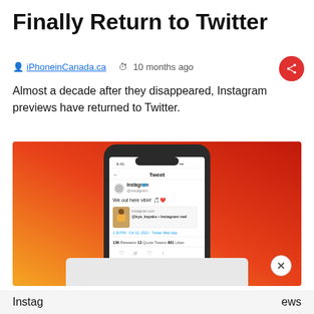Finally Return to Twitter
iPhoneinCanada.ca  ·  10 months ago
Almost a decade after they disappeared, Instagram previews have returned to Twitter.
[Figure (screenshot): A smartphone showing a Twitter app screen with an Instagram post by @instagram reading 'We out here vibin'' with an Instagram reel link preview from instagram.com. Status bar shows 9:41, tweet stats: 136 Retweets, 13 Quote Tweets, 801 Likes. The phone is on an orange-to-red gradient background.]
Instag                           ews